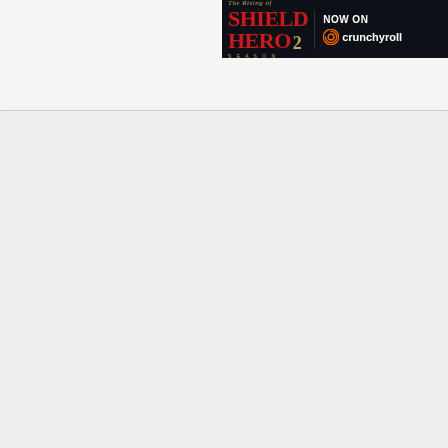[Figure (screenshot): Advertisement banner for 'The Rising of Shield Hero Season 2' anime, displayed on a dark navy/black background. Left side shows the show title in stylized red text 'SHIELD HERO 2' with 'The Rising of' above in gold italic and 'SEASON 2' below in gold small caps. Right side shows 'NOW ON' in white bold text above the Crunchyroll logo (crescent moon icon) and 'crunchyroll' text in white.]